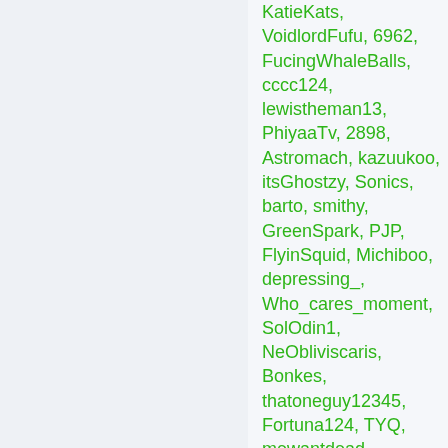KatieKats, VoidlordFufu, 6962, FucingWhaleBalls, cccc124, lewistheman13, PhiyaaTv, 2898, Astromach, kazuukoo, itsGhostzy, Sonics, barto, smithy, GreenSpark, PJP, FlyinSquid, Michiboo, depressing_, Who_cares_moment, SolOdin1, NeObliviscaris, Bonkes, thatoneguy12345, Fortuna124, TYQ, mewantdead, DekuMidoriya, WolfOl, HooperEddie, ...